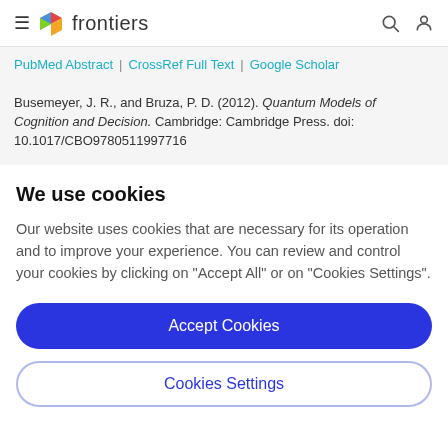frontiers
PubMed Abstract | CrossRef Full Text | Google Scholar
Busemeyer, J. R., and Bruza, P. D. (2012). Quantum Models of Cognition and Decision. Cambridge: Cambridge Press. doi: 10.1017/CBO9780511997716
We use cookies
Our website uses cookies that are necessary for its operation and to improve your experience. You can review and control your cookies by clicking on "Accept All" or on "Cookies Settings".
Accept Cookies
Cookies Settings